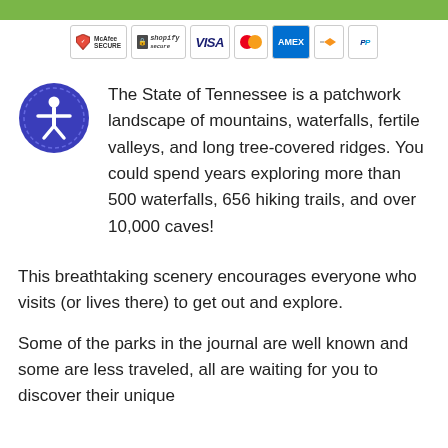[Figure (other): Green top bar and payment security badges including McAfee SECURE, Shopify Secure, Visa, Mastercard, AMEX, Discover, and PayPal]
The State of Tennessee is a patchwork landscape of mountains, waterfalls, fertile valleys, and long tree-covered ridges. You could spend years exploring more than 500 waterfalls, 656 hiking trails, and over 10,000 caves!
This breathtaking scenery encourages everyone who visits (or lives there) to get out and explore.
Some of the parks in the journal are well known and some are less traveled, all are waiting for you to discover their unique